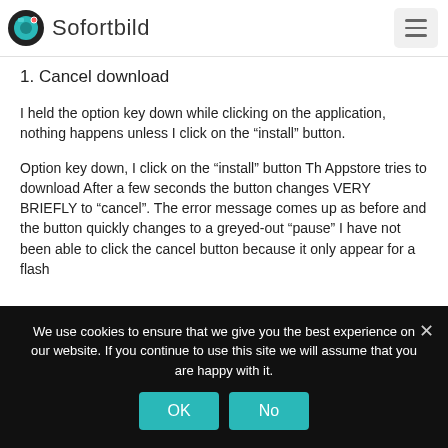Sofortbild
1. Cancel download
I held the option key down while clicking on the application, nothing happens unless I click on the “install” button.
Option key down, I click on the “install” button Th Appstore tries to download After a few seconds the button changes VERY BRIEFLY to “cancel”. The error message comes up as before and the button quickly changes to a greyed-out “pause” I have not been able to click the cancel button because it only appear for a flash
We use cookies to ensure that we give you the best experience on our website. If you continue to use this site we will assume that you are happy with it.